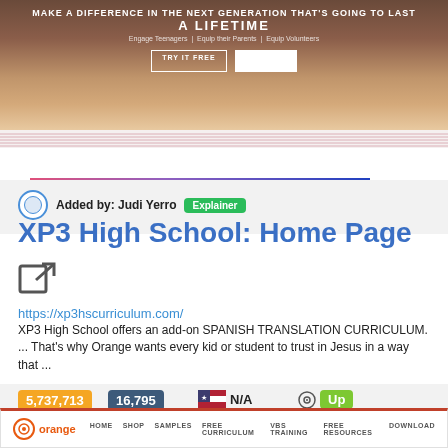[Figure (screenshot): Top banner with people and promotional text: 'MAKE A DIFFERENCE IN THE NEXT GENERATION THAT'S GOING TO LAST A LIFETIME', with 'TRY IT FREE' button]
Added by: Judi Yerro  Explainer
XP3 High School: Home Page
https://xp3hscurriculum.com/
XP3 High School offers an add-on SPANISH TRANSLATION CURRICULUM. ... That's why Orange wants every kid or student to trust in Jesus in a way that ...
5,737,713  Global Rank   16,795  Pageviews   N/A  Top Country   Up  Site Staus
[Figure (screenshot): Orange website navigation bar with logo and menu items: HOME, SHOP, SAMPLES, FREE CURRICULUM, VBS TRAINING, FREE RESOURCES, DOWNLOAD]